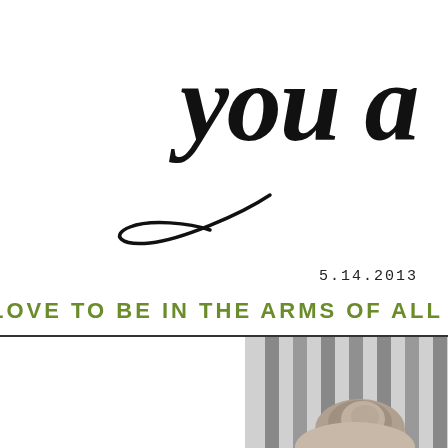you a
[Figure (illustration): Hand-drawn cursive swirl/flourish beneath the word 'you a']
5.14.2013
LOVE TO BE IN THE ARMS OF ALL I'M
[Figure (photo): Black and white photograph of a person with hair in a bun, viewed from behind, sitting near wooden fence slats or bars]